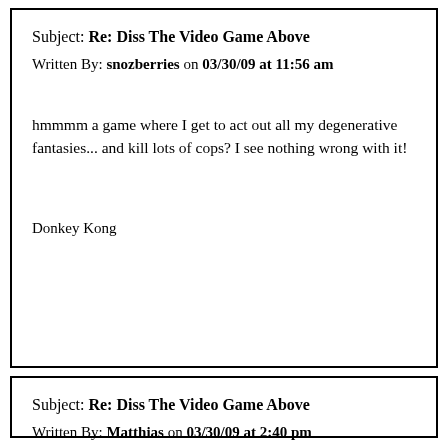Subject: Re: Diss The Video Game Above
Written By: snozberries on 03/30/09 at 11:56 am
hmmmm a game where I get to act out all my degenerative fantasies... and kill lots of cops? I see nothing wrong with it!
Donkey Kong
Subject: Re: Diss The Video Game Above
Written By: Matthias on 03/30/09 at 2:40 pm